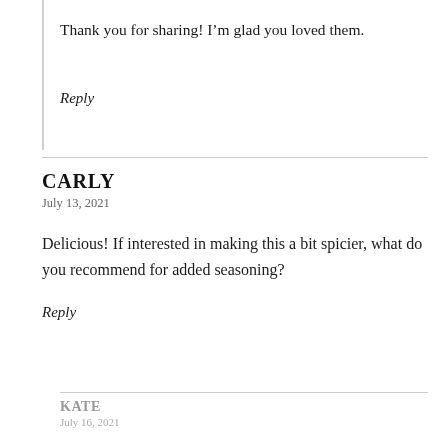Thank you for sharing! I'm glad you loved them.
Reply
CARLY
July 13, 2021
Delicious! If interested in making this a bit spicier, what do you recommend for added seasoning?
Reply
KATE
July 16, 2021